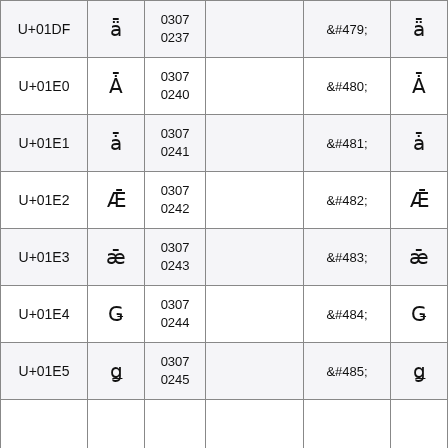| U+01DF | ǟ | 0307
0237 |  | &#479; | ǟ |
| U+01E0 | Ǡ | 0307
0240 |  | &#480; | Ǡ |
| U+01E1 | ǡ | 0307
0241 |  | &#481; | ǡ |
| U+01E2 | Ǣ | 0307
0242 |  | &#482; | Ǣ |
| U+01E3 | ǣ | 0307
0243 |  | &#483; | ǣ |
| U+01E4 | Ǥ | 0307
0244 |  | &#484; | Ǥ |
| U+01E5 | ǥ | 0307
0245 |  | &#485; | ǥ |
|  |  |  |  |  |  |